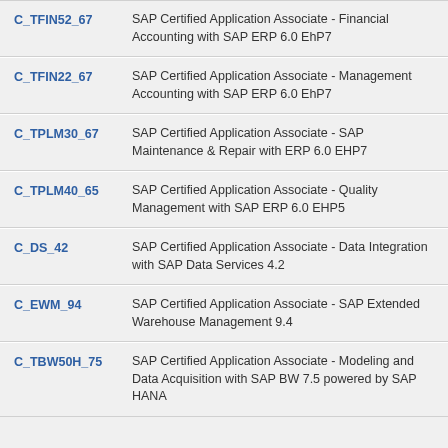C_TFIN52_67 — SAP Certified Application Associate - Financial Accounting with SAP ERP 6.0 EhP7
C_TFIN22_67 — SAP Certified Application Associate - Management Accounting with SAP ERP 6.0 EhP7
C_TPLM30_67 — SAP Certified Application Associate - SAP Maintenance & Repair with ERP 6.0 EHP7
C_TPLM40_65 — SAP Certified Application Associate - Quality Management with SAP ERP 6.0 EHP5
C_DS_42 — SAP Certified Application Associate - Data Integration with SAP Data Services 4.2
C_EWM_94 — SAP Certified Application Associate - SAP Extended Warehouse Management 9.4
C_TBW50H_75 — SAP Certified Application Associate - Modeling and Data Acquisition with SAP BW 7.5 powered by SAP HANA